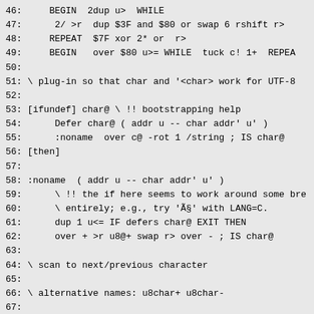46:     BEGIN  2dup u>  WHILE
47:      2/ >r  dup $3F and $80 or swap 6 rshift r>
48:     REPEAT  $7F xor 2* or  r>
49:     BEGIN   over $80 u>= WHILE  tuck c! 1+  REPEA
50:
51: \ plug-in so that char and '<char> work for UTF-8
52:
53: [ifundef] char@ \ !! bootstrapping help
54:      Defer char@ ( addr u -- char addr' u' )
55:      :noname  over c@ -rot 1 /string ; IS char@
56: [then]
57:
58: :noname  ( addr u -- char addr' u' )
59:      \ !! the if here seems to work around some bre
60:      \ entirely; e.g., try 'Ã§' with LANG=C.
61:      dup 1 u<= IF defers char@ EXIT THEN
62:      over + >r u8@+ swap r> over - ; IS char@
63:
64: \ scan to next/previous character
65:
66: \ alternative names: u8char+ u8char-
67:
68: : u8>>  ( u8addr -- u8addr' )  u8@+ drop ;
69: : u8<<  ( u8addr -- u8addr' )
70:      BEGIN  1- dup c@ $C0 and max-single-byte <>  u
71:
72: \ utf key and emit
73:
74: Defer check-xy  ' noop IS check-xy
75: